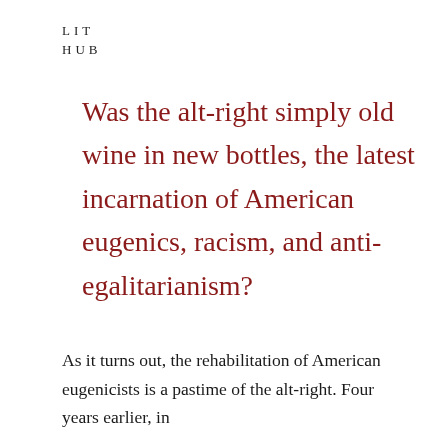LIT
HUB
Was the alt-right simply old wine in new bottles, the latest incarnation of American eugenics, racism, and anti-egalitarianism?
As it turns out, the rehabilitation of American eugenicists is a pastime of the alt-right. Four years earlier, in